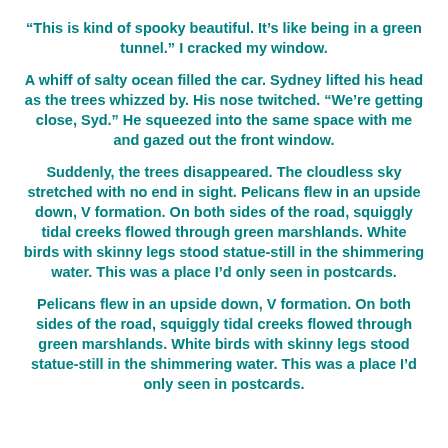“This is kind of spooky beautiful. It’s like being in a green tunnel.” I cracked my window.
A whiff of salty ocean filled the car. Sydney lifted his head as the trees whizzed by. His nose twitched. “We’re getting close, Syd.” He squeezed into the same space with me and gazed out the front window.
Suddenly, the trees disappeared. The cloudless sky stretched with no end in sight. Pelicans flew in an upside down, V formation. On both sides of the road, squiggly tidal creeks flowed through green marshlands. White birds with skinny legs stood statue-still in the shimmering water. This was a place I’d only seen in postcards.
Pelicans flew in an upside down, V formation. On both sides of the road, squiggly tidal creeks flowed through green marshlands. White birds with skinny legs stood statue-still in the shimmering water. This was a place I’d only seen in postcards.